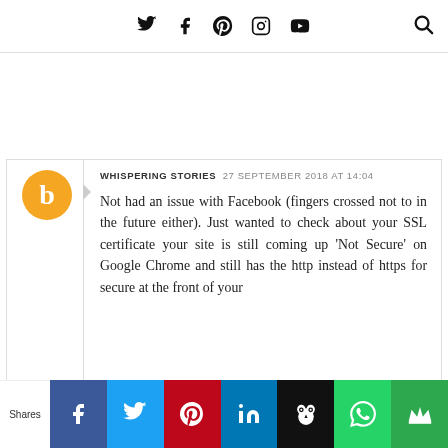Social media icons: Twitter, Facebook, Pinterest, Instagram, YouTube, Search
[Figure (other): Blogger avatar: orange circle with white B logo]
WHISPERING STORIES  27 SEPTEMBER 2018 AT 14:04

Not had an issue with Facebook (fingers crossed not to in the future either). Just wanted to check about your SSL certificate your site is still coming up 'Not Secure' on Google Chrome and still has the http instead of https for secure at the front of your
Shares | Facebook | Twitter | Pinterest | LinkedIn | Hootsuite | WhatsApp | Crown